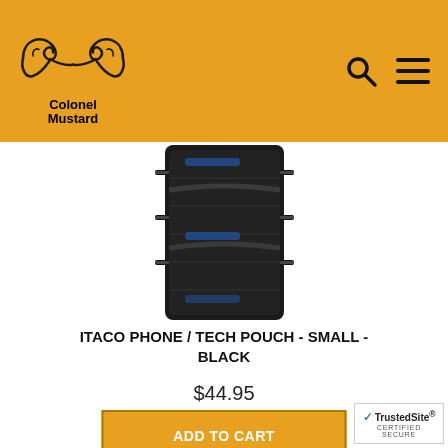[Figure (logo): Colonel Mustard logo — decorative mustache illustration above the text 'Colonel Mustard']
[Figure (photo): ITACO Phone/Tech Pouch Small Black product photo — a black tactical molle pouch with elastic straps, shown front-facing]
ITACO PHONE / TECH POUCH - SMALL - BLACK
$44.95
ADD TO CART
[Figure (photo): Partial view of a second product at the bottom of the page — a black device/pouch partially visible]
[Figure (other): TrustedSite Certified Secure badge in the bottom right corner]